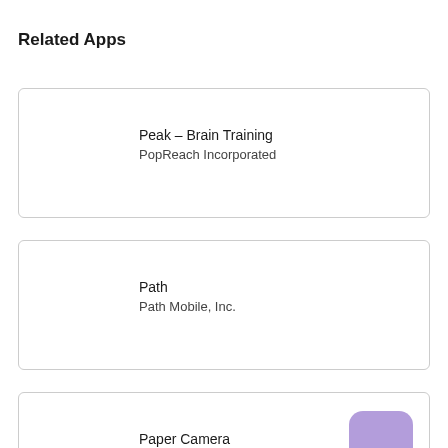Related Apps
Peak – Brain Training
PopReach Incorporated
Path
Path Mobile, Inc.
Paper Camera
JFDP Labs Limited